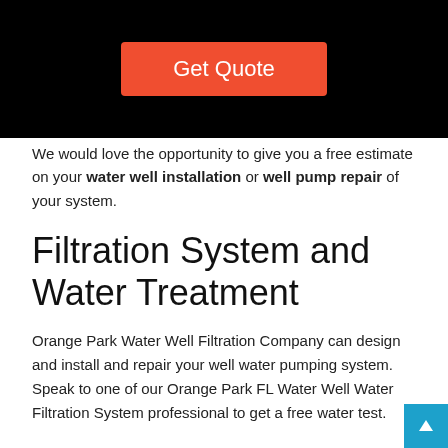[Figure (screenshot): Black banner with a red 'Get Quote' button centered on it]
We would love the opportunity to give you a free estimate on your water well installation or well pump repair of your system.
Filtration System and Water Treatment
Orange Park Water Well Filtration Company can design and install and repair your well water pumping system. Speak to one of our Orange Park FL Water Well Water Filtration System professional to get a free water test.
Water Well Drilling in Orange Park, FL